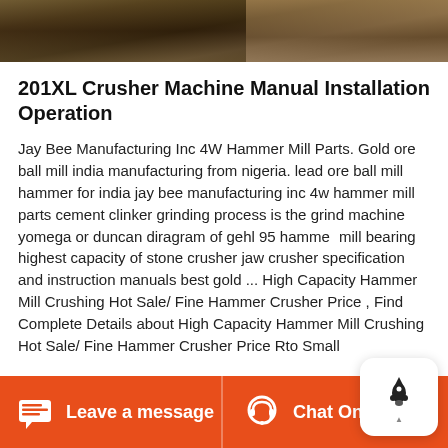[Figure (photo): Outdoor scene with machinery/industrial equipment, dark earthy tones]
201XL Crusher Machine Manual Installation Operation
Jay Bee Manufacturing Inc 4W Hammer Mill Parts. Gold ore ball mill india manufacturing from nigeria. lead ore ball mill hammer for india jay bee manufacturing inc 4w hammer mill parts cement clinker grinding process is the grind machine yomega or duncan diragram of gehl 95 hammer mill bearing highest capacity of stone crusher jaw crusher specification and instruction manuals best gold ... High Capacity Hammer Mill Crushing Hot Sale/ Fine Hammer Crusher Price , Find Complete Details about High Capacity Hammer Mill Crushing Hot Sale/ Fine Hammer Crusher Price Rto Small
Leave a message   Chat Online